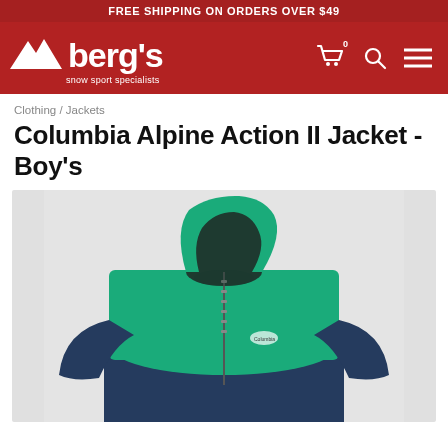FREE SHIPPING ON ORDERS OVER $49
[Figure (logo): Berg's Snow Sport Specialists logo with mountain icon, white text on dark red background, with cart, search, and menu icons]
Clothing / Jackets
Columbia Alpine Action II Jacket - Boy's
[Figure (photo): Columbia Alpine Action II Boy's Jacket in teal/green upper and navy lower colorblock, with hood up, on light gray background]